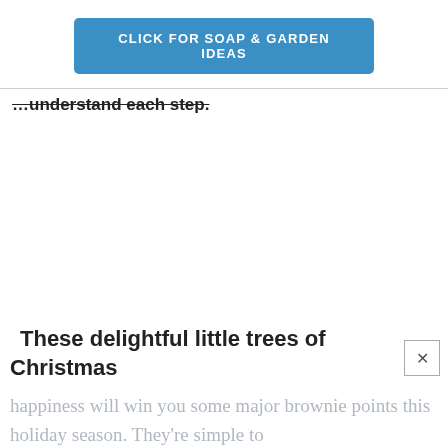[Figure (other): Blue button banner with text CLICK FOR SOAP & GARDEN IDEAS]
...understand each step.
These delightful little trees of Christmas
happiness will win you some major brownie points this holiday season. They're simple to